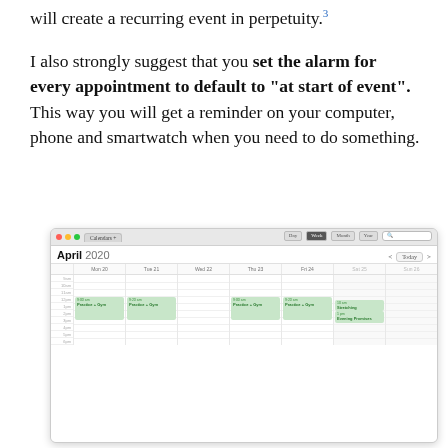will create a recurring event in perpetuity.³
I also strongly suggest that you set the alarm for every appointment to default to “at start of event”. This way you will get a reminder on your computer, phone and smartwatch when you need to do something.
[Figure (screenshot): Screenshot of Apple Calendar app showing April 2020 week view with recurring green events labeled 'Practice + Gym' appearing on Monday, Tuesday, Thursday, and Friday. Saturday shows additional events 'Stretching' and 'Evening Promises'.]